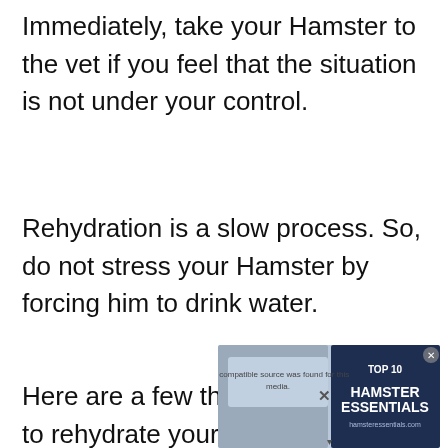Immediately, take your Hamster to the vet if you feel that the situation is not under your control.
Rehydration is a slow process. So, do not stress your Hamster by forcing him to drink water.
Here are a few things you can do to rehydrate your Hamster:
[Figure (screenshot): Video player overlay showing 'No compatible source was found for this media.' message with an X close button and a 'TOP 10 HAMSTER ESSENTIALS' badge on the right side, overlaid on a blurred background image.]